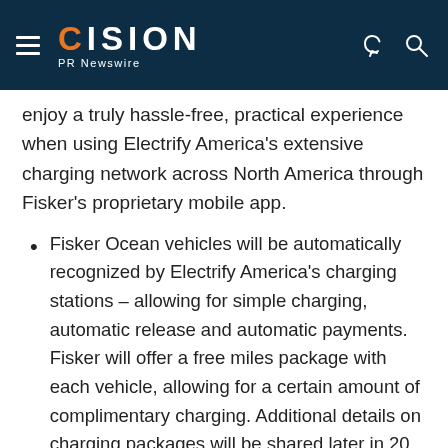CISION PR Newswire
enjoy a truly hassle-free, practical experience when using Electrify America's extensive charging network across North America through Fisker's proprietary mobile app.
Fisker Ocean vehicles will be automatically recognized by Electrify America's charging stations – allowing for simple charging, automatic release and automatic payments. Fisker will offer a free miles package with each vehicle, allowing for a certain amount of complimentary charging. Additional details on charging packages will be shared later in 20[…]
Electrify America expects to install, or have…